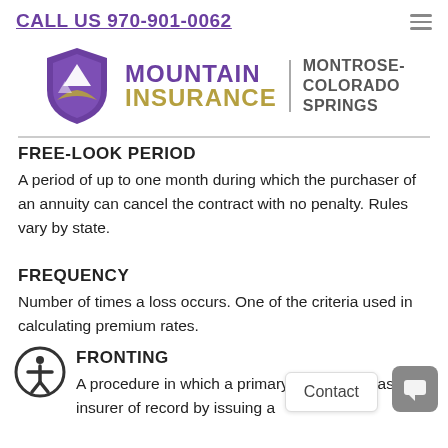CALL US 970-901-0062
[Figure (logo): Mountain Insurance logo with purple shield containing mountain and road, text MOUNTAIN INSURANCE in purple and gold, with MONTROSE-COLORADO SPRINGS in grey]
FREE-LOOK PERIOD
A period of up to one month during which the purchaser of an annuity can cancel the contract with no penalty. Rules vary by state.
FREQUENCY
Number of times a loss occurs. One of the criteria used in calculating premium rates.
FRONTING
A procedure in which a primary insurer acts as the insurer of record by issuing a